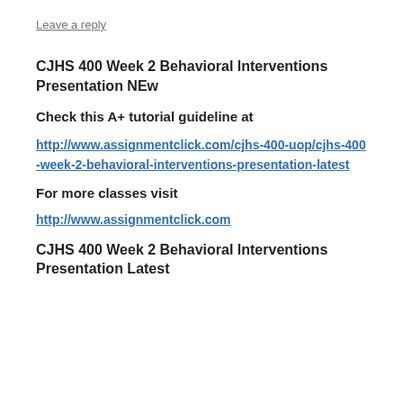Leave a reply
CJHS 400 Week 2 Behavioral Interventions Presentation NEw
Check this A+ tutorial guideline at
http://www.assignmentclick.com/cjhs-400-uop/cjhs-400-week-2-behavioral-interventions-presentation-latest
For more classes visit
http://www.assignmentclick.com
CJHS 400 Week 2 Behavioral Interventions Presentation Latest